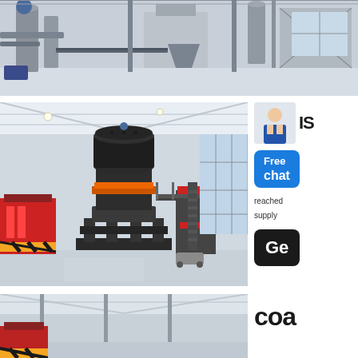[Figure (photo): Wide industrial facility interior showing processing equipment, conveyors, silos, and ductwork in a large warehouse-style building]
[Figure (photo): Large cone crusher machine displayed in a modern industrial showroom with high ceilings and large windows, surrounded by other mining equipment]
[Figure (photo): Partial view of industrial building interior with roof trusses and red machinery visible]
reached
supply
Free chat
Ge
coa